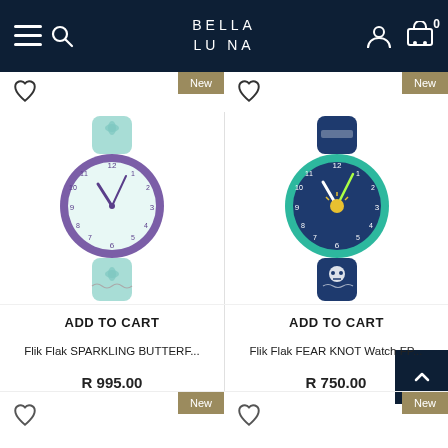BELLA LUNA
[Figure (photo): Flik Flak SPARKLING BUTTERF... children's watch with purple bezel and teal butterfly strap]
ADD TO CART
Flik Flak SPARKLING BUTTERF...
R 995.00
[Figure (photo): Flik Flak FEAR KNOT Watch FP... children's watch with teal/green bezel and navy nautical strap]
ADD TO CART
Flik Flak FEAR KNOT Watch FP...
R 750.00